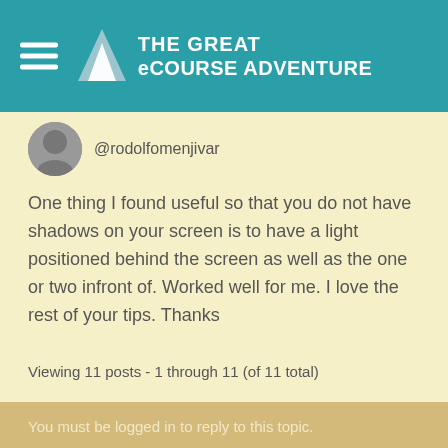THE GREAT eCOURSE ADVENTURE
@rodolfomenjivar
One thing I found useful so that you do not have shadows on your screen is to have a light positioned behind the screen as well as the one or two infront of. Worked well for me. I love the rest of your tips. Thanks
Viewing 11 posts - 1 through 11 (of 11 total)
You must be logged in to reply to this topic.